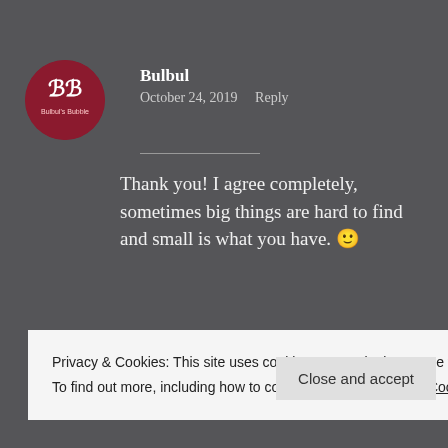[Figure (logo): Bulbul's Bubble circular avatar logo with 'BB' letters on dark red background]
Bulbul
October 24, 2019   Reply
Thank you! I agree completely, sometimes big things are hard to find and small is what you have. 🙂
★ Liked by 1 person
Privacy & Cookies: This site uses cookies. By continuing to use this website, you agree to their use.
To find out more, including how to control cookies, see here: Cookie Policy
Close and accept